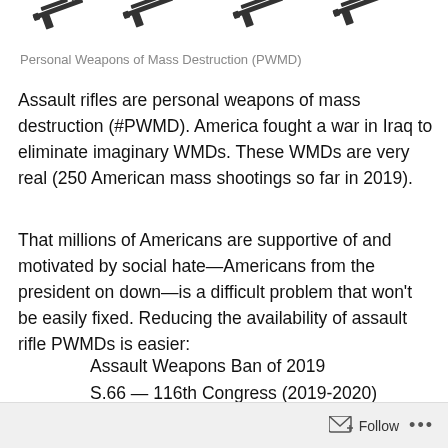[Figure (illustration): Silhouettes of assault rifles arranged in a row across the top of the page]
Personal Weapons of Mass Destruction (PWMD)
Assault rifles are personal weapons of mass destruction (#PWMD). America fought a war in Iraq to eliminate imaginary WMDs. These WMDs are very real (250 American mass shootings so far in 2019).
That millions of Americans are supportive of and motivated by social hate—Americans from the president on down—is a difficult problem that won't be easily fixed. Reducing the availability of assault rifle PWMDs is easier:
Assault Weapons Ban of 2019
S.66 — 116th Congress (2019-2020)
Introduced in Senate (01/09/2019)
Follow  ...